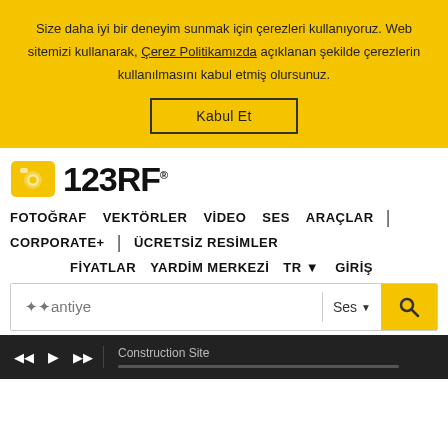Size daha iyi bir deneyim sunmak için çerezleri kullanıyoruz. Web sitemizi kullanarak, Çerez Politikamızda açıklanan şekilde çerezlerin kullanılmasını kabul etmiş olursunuz.
Kabul Et
[Figure (logo): 123RF logo with yellow camera icon]
FOTOĞRAF   VEKTÖRLER   VİDEO   SES   ARAÇLAR   |   CORPORATE+   |   ÜCRETSİZ RESİMLER
FİYATLAR   YARDİM MERKEZİ   TR ▾   GİRİŞ
❖❖antiye
Construction Site